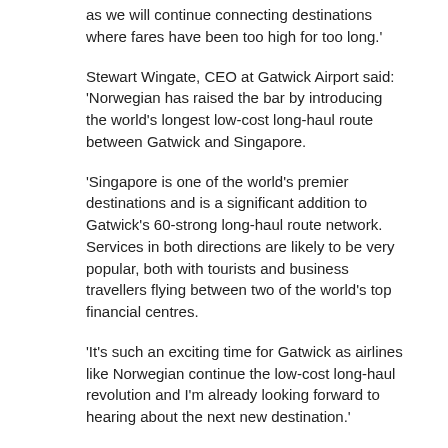as we will continue connecting destinations where fares have been too high for too long.'
Stewart Wingate, CEO at Gatwick Airport said: ‘Norwegian has raised the bar by introducing the world’s longest low-cost long-haul route between Gatwick and Singapore.
‘Singapore is one of the world’s premier destinations and is a significant addition to Gatwick’s 60-strong long-haul route network. Services in both directions are likely to be very popular, both with tourists and business travellers flying between two of the world’s top financial centres.
‘It’s such an exciting time for Gatwick as airlines like Norwegian continue the low-cost long-haul revolution and I’m already looking forward to hearing about the next new destination.’
Norwegian’s Boeing 787-9 Dreamliners provides passengers with personal 11-inch seat back screens. All seats are equipped with USB ports for charging personal electronic devices. Premium passengers also benefit from cradle seating offering more than a metre of legroom and free lounge access at Gatwick Airport from £699.90 one way, the airline said.